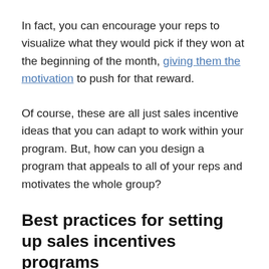In fact, you can encourage your reps to visualize what they would pick if they won at the beginning of the month, giving them the motivation to push for that reward.
Of course, these are all just sales incentive ideas that you can adapt to work within your program. But, how can you design a program that appeals to all of your reps and motivates the whole group?
Best practices for setting up sales incentives programs